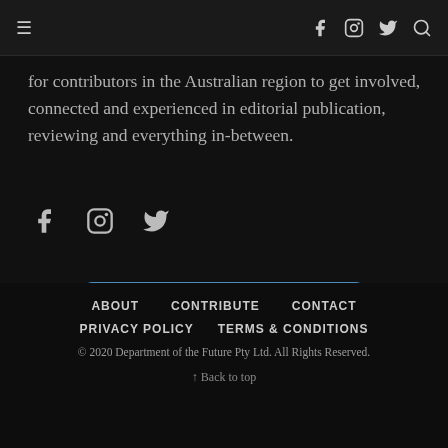≡  [social icons: facebook, instagram, twitter, search]
for contributors in the Australian region to get involved, connected and experienced in editorial publication, reviewing and everything in-between.
[Figure (other): Social media icons row: facebook, instagram, twitter]
[Figure (other): Follow on Instagram button with instagram icon]
ABOUT   CONTRIBUTE   CONTACT
PRIVACY POLICY   TERMS & CONDITIONS
© 2020 Department of the Future Pty Ltd. All Rights Reserved.
↑ Back to top